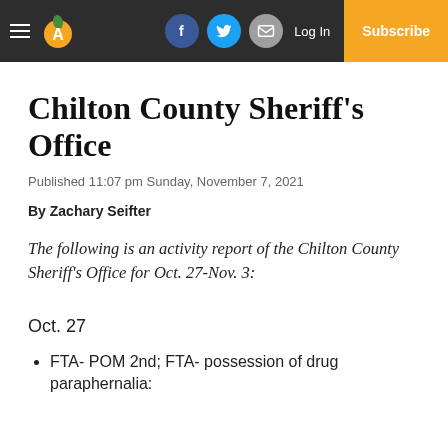Chilton County Sheriff's Office — website navigation header with hamburger menu, peach logo, Facebook/Twitter/email icons, Log In, Subscribe
Chilton County Sheriff's Office
Published 11:07 pm Sunday, November 7, 2021
By Zachary Seifter
The following is an activity report of the Chilton County Sheriff's Office for Oct. 27-Nov. 3:
Oct. 27
FTA- POM 2nd; FTA- possession of drug paraphernalia: